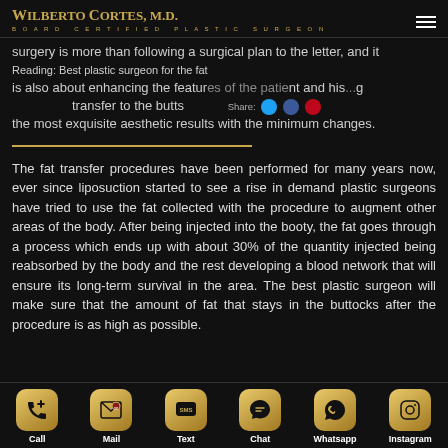WILBERTO CORTES, M.D. BOARD CERTIFIED PLASTIC SURGEON
Reading: Best plastic surgeon for the fat transfer to the butts
surgery is more than following a surgical plan to the letter, and it is also about enhancing the features of the patient and achieving the most exquisite aesthetic results with the minimum changes.
The fat transfer procedures have been performed for many years now, ever since liposuction started to see a rise in demand plastic surgeons have tried to use the fat collected with the procedure to augment other areas of the body. After being injected into the booty, the fat goes through a process which ends up with about 30% of the quantity injected being reabsorbed by the body and the rest developing a blood network that will ensure its long-term survival in the area. The best plastic surgeon will make sure that the amount of fat that stays in the buttocks after the procedure is as high as possible.
Call | Mail | Text | Chat | Whatsapp | Instagram